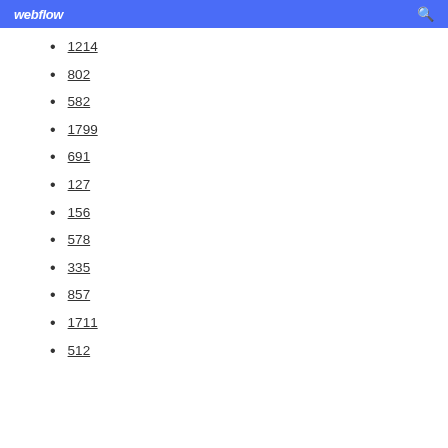webflow
1214
802
582
1799
691
127
156
578
335
857
1711
512